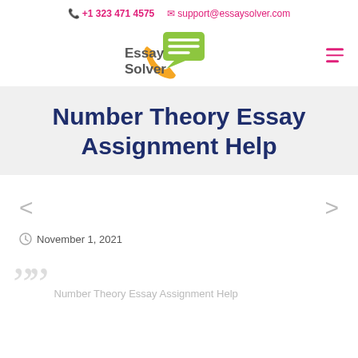+1 323 471 4575  support@essaysolver.com
[Figure (logo): EssaySolver logo with phone handset and chat bubble icons, text reading Essay Solver]
Number Theory Essay Assignment Help
< (left arrow navigation)  > (right arrow navigation)
November 1, 2021
Number Theory Essay Assignment Help